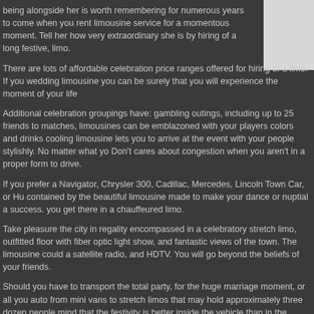being alongside her is worth remembering for numerous years to come when you rent limousine service for a momentous moment. Tell her how very extraordinary she is by hiring of a long festive, limo.
There are lots of affordable celebration price ranges offered for hiring of a limo. If you wedding limousine you can be surely that you will experience the moment of your life
Additional celebration groupings have: gambling outings, including up to 25 friends to matches, limousines can be emblazoned with your players colors and drinks cooling limousine lets you to arrive at the event with your people stylishly. No matter what yo Don't cares about congestion when you aren't in a proper form to drive.
If you prefer a Navigator, Chrysler 300, Cadillac, Mercedes, Lincoln Town Car, or Hu contained by the beautiful limousine made to make your dance or nuptial a success. you get there in a chauffeured limo.
Take pleasure the city in regality encompassed in a celebratory stretch limo, outfitted floor with fiber optic light show, and fantastic views of the town. The limousine could a satellite radio, and HDTV. You will go beyond the beliefs of your friends.
Should you have to transport the total party, for the huge marriage moment, or all you auto from mini vans to stretch limos that may hold approximately three dozen people mind that the festivity is better inside the vehicle than in the building with the remaini
Plans can be arranged through email or chat live with a customer service representa provide online chartering, or Skype. Within literally minutes your limo will arrive at yo inquire for your desired chauffeur by name, a lot of firms will strive to gratify the ask f
There are a couple things to be considered when comparing the distinction between sidewalk. The preliminary rates for the auto service (limousine) are usually merely a booked in advance.